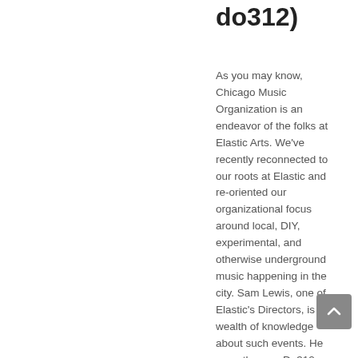do312)
As you may know, Chicago Music Organization is an endeavor of the folks at Elastic Arts. We've recently reconnected to our roots at Elastic and re-oriented our organizational focus around local, DIY, experimental, and otherwise underground music happening in the city. Sam Lewis, one of Elastic's Directors, is a wealth of knowledge about such events. He recently gave Do312 a peek into his November music calendar…